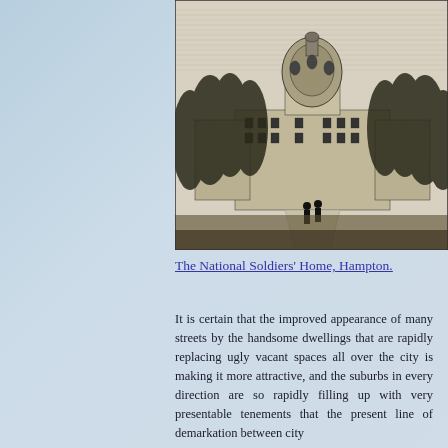[Figure (illustration): Black and white engraving of The National Soldiers' Home, Hampton — a large domed building surrounded by trees, with two figures on a path in the foreground.]
The National Soldiers' Home, Hampton.
It is certain that the improved appearance of many streets by the handsome dwellings that are rapidly replacing ugly vacant spaces all over the city is making it more attractive, and the suburbs in every direction are so rapidly filling up with very presentable tenements that the present line of demarkation between city